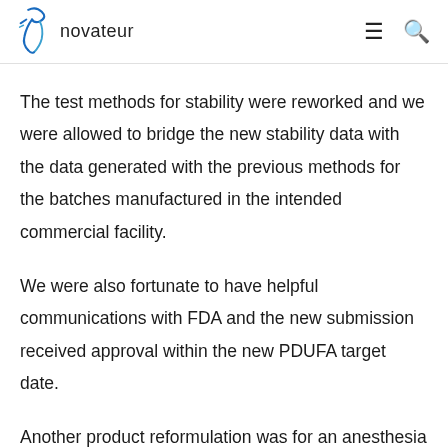novateur
The test methods for stability were reworked and we were allowed to bridge the new stability data with the data generated with the previous methods for the batches manufactured in the intended commercial facility.
We were also fortunate to have helpful communications with FDA and the new submission received approval within the new PDUFA target date.
Another product reformulation was for an anesthesia recovery drug that had been approved